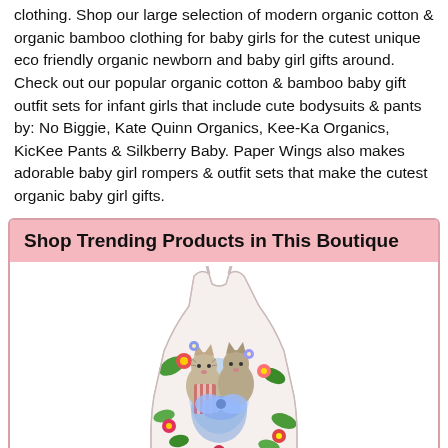clothing. Shop our large selection of modern organic cotton & organic bamboo clothing for baby girls for the cutest unique eco friendly organic newborn and baby girl gifts around. Check out our popular organic cotton & bamboo baby gift outfit sets for infant girls that include cute bodysuits & pants by: No Biggie, Kate Quinn Organics, Kee-Ka Organics, KicKee Pants & Silkberry Baby. Paper Wings also makes adorable baby girl rompers & outfit sets that make the cutest organic baby girl gifts.
Shop Trending Products in This Boutique
[Figure (photo): A baby girl dress with spaghetti straps, white background with floral and cat print design showing kittens wearing blue outfits surrounded by colorful flowers.]